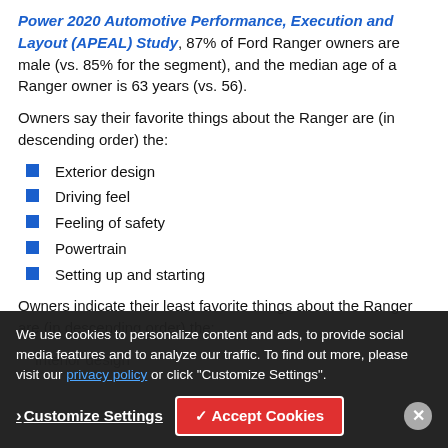Power 2020 Automotive Performance, Execution and Layout (APEAL) Study, 87% of Ford Ranger owners are male (vs. 85% for the segment), and the median age of a Ranger owner is 63 years (vs. 56).
Owners say their favorite things about the Ranger are (in descending order) the:
Exterior design
Driving feel
Feeling of safety
Powertrain
Setting up and starting
Owners indicate their least favorite things about the Ranger are (in descending order) the:
Interior design (partial, obscured by cookie overlay)
We use cookies to personalize content and ads, to provide social media features and to analyze our traffic. To find out more, please visit our privacy policy or click "Customize Settings".